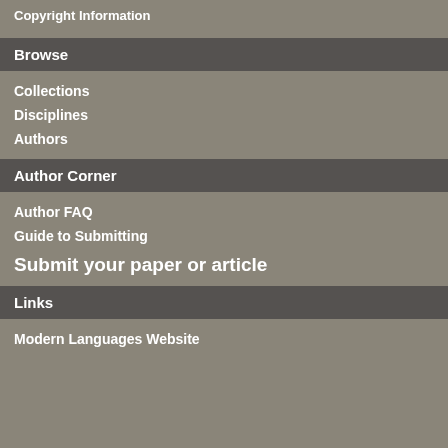Copyright Information
Browse
Collections
Disciplines
Authors
Author Corner
Author FAQ
Guide to Submitting
Submit your paper or article
Links
Modern Languages Website
Martina Barinova, University ...
First Advisor
José Eduardo González
Date of this Version
4-2017
Citation
Barinova, Martina. El rock en M... neoliberalización o una re-defi... Lincoln. 2017.
Comments
A THESIS Presented to the Fa... Nebraska in Partial Fulfillment... Modern Languages and Litera... González, Lincoln, Nebraska: ...
Abstract
Abstract in English
This work, which parts from th... the potential to transform and ... its beginning until the present.
of extreme economic instability